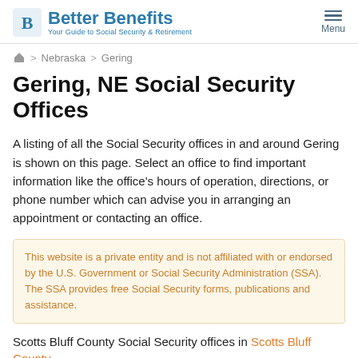Better Benefits — Your Guide to Social Security & Retirement
Home > Nebraska > Gering
Gering, NE Social Security Offices
A listing of all the Social Security offices in and around Gering is shown on this page. Select an office to find important information like the office's hours of operation, directions, or phone number which can advise you in arranging an appointment or contacting an office.
This website is a private entity and is not affiliated with or endorsed by the U.S. Government or Social Security Administration (SSA). The SSA provides free Social Security forms, publications and assistance.
Scotts Bluff County Social Security offices in Scotts Bluff County